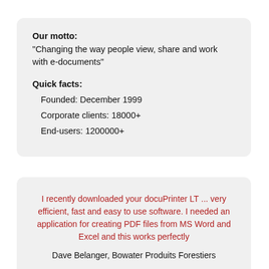Our motto:
"Changing the way people view, share and work with e-documents"
Quick facts:
    Founded: December 1999
    Corporate clients: 18000+
    End-users: 1200000+
I recently downloaded your docuPrinter LT ... very efficient, fast and easy to use software. I needed an application for creating PDF files from MS Word and Excel and this works perfectly
Dave Belanger, Bowater Produits Forestiers